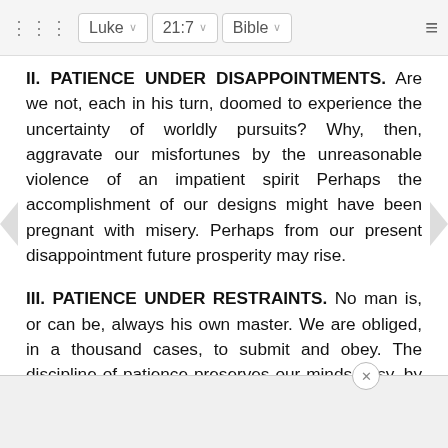⠿ Luke ∨ 21:7 ∨ Bible ∨ ≡
II. PATIENCE UNDER DISAPPOINTMENTS. Are we not, each in his turn, doomed to experience the uncertainty of worldly pursuits? Why, then, aggravate our misfortunes by the unreasonable violence of an impatient spirit Perhaps the accomplishment of our designs might have been pregnant with misery. Perhaps from our present disappointment future prosperity may rise.
III. PATIENCE UNDER RESTRAINTS. No man is, or can be, always his own master. We are obliged, in a thousand cases, to submit and obey. The discipline of patience preserves our minds easy, by conforming them to our state. By the impetuosity of an impatient and unsubmitting temper, it fight again... avate the e...